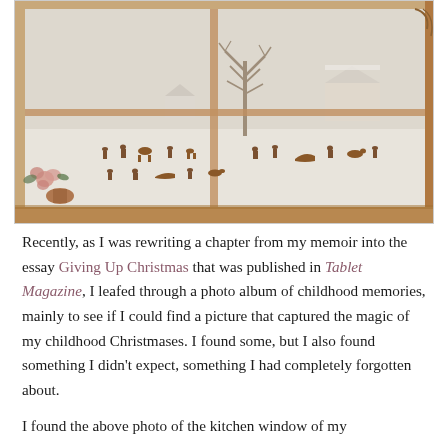[Figure (photo): A photograph viewed through a wooden-framed window showing a snowy winter outdoor scene with bare trees, snow-covered buildings in the distance, and small decorative silhouette figures (people, animals, sleds) arranged on the windowsill. A vase with pink flowers is visible in the lower left corner of the window frame.]
Recently, as I was rewriting a chapter from my memoir into the essay Giving Up Christmas that was published in Tablet Magazine, I leafed through a photo album of childhood memories, mainly to see if I could find a picture that captured the magic of my childhood Christmases. I found some, but I also found something I didn't expect, something I had completely forgotten about.
I found the above photo of the kitchen window of my